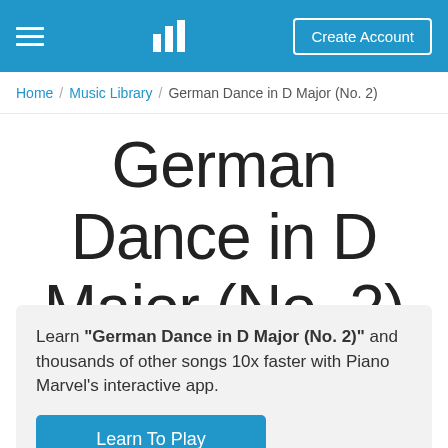Menu | Piano Marvel logo | Create Account
Home / Music Library / German Dance in D Major (No. 2)
German Dance in D Major (No. 2)
Learn "German Dance in D Major (No. 2)" and thousands of other songs 10x faster with Piano Marvel's interactive app.
Learn To Play